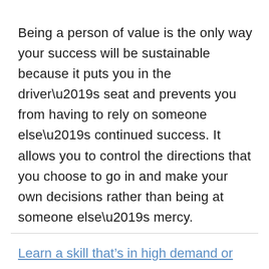Being a person of value is the only way your success will be sustainable because it puts you in the driver’s seat and prevents you from having to rely on someone else’s continued success. It allows you to control the directions that you choose to go in and make your own decisions rather than being at someone else’s mercy.
Learn a skill that’s in high demand or